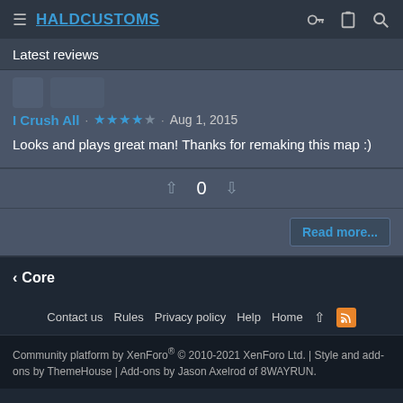HaldCustoms
Latest reviews
I Crush All · ☆☆☆☆☆ · Aug 1, 2015
Looks and plays great man! Thanks for remaking this map :)
0
Read more...
< Core
Contact us  Rules  Privacy policy  Help  Home  ↑  RSS
Community platform by XenForo® © 2010-2021 XenForo Ltd. | Style and add-ons by ThemeHouse | Add-ons by Jason Axelrod of 8WAYRUN.